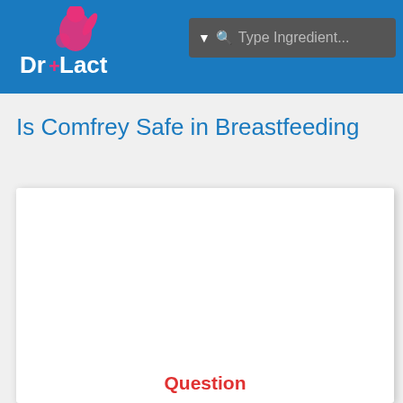Dr+Lact | Type Ingredient...
Is Comfrey Safe in Breastfeeding
Question